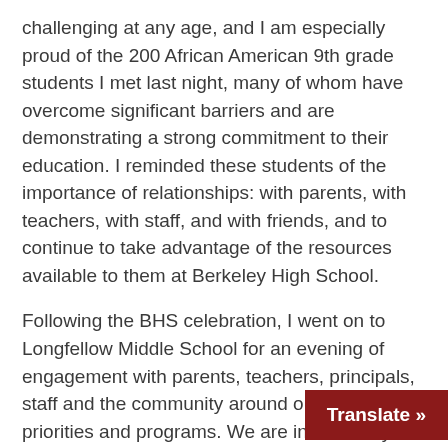challenging at any age, and I am especially proud of the 200 African American 9th grade students I met last night, many of whom have overcome significant barriers and are demonstrating a strong commitment to their education. I reminded these students of the importance of relationships: with parents, with teachers, with staff, and with friends, and to continue to take advantage of the resources available to them at Berkeley High School.
Following the BHS celebration, I went on to Longfellow Middle School for an evening of engagement with parents, teachers, principals, staff and the community around our "LCAP" priorities and programs. We are in our first year of implementing the three-year Local Control & Accountability Plan. Here is a short summary overview of LCAP year one that we handed out last night.
Together we are making big leaps for